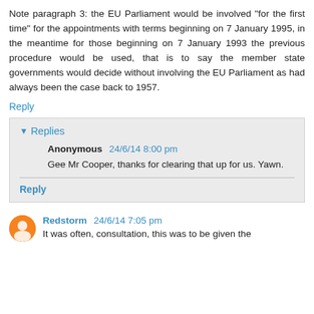Note paragraph 3: the EU Parliament would be involved "for the first time" for the appointments with terms beginning on 7 January 1995, in the meantime for those beginning on 7 January 1993 the previous procedure would be used, that is to say the member state governments would decide without involving the EU Parliament as had always been the case back to 1957.
Reply
Replies
Anonymous 24/6/14 8:00 pm
Gee Mr Cooper, thanks for clearing that up for us. Yawn.
Reply
Redstorm 24/6/14 7:05 pm